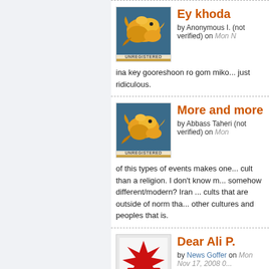Ey khoda
by Anonymous I. (not verified) on Mon N...
ina key gooreshoon ro gom miko... just ridiculous.
More and more
by Abbass Taheri (not verified) on Mon ...
of this types of events makes one... cult than a religion. I don't know m... somehow different/modern? Iran ... cults that are outside of norm tha... other cultures and peoples that is.
Dear Ali P.
by News Goffer on Mon Nov 17, 2008 0...
You are right.  You couldn't readil... it's important.  This ceremony has... authorities in the Ahmadinejad ca... and conservatives are asking for... resignation, again.
I posted this news item about this event last night...